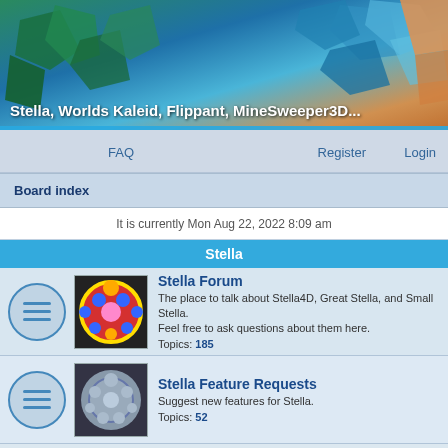[Figure (photo): Banner image showing 3D geometric polyhedra shapes in green, blue, teal, orange and other colors]
Stella, Worlds Kaleid, Flippant, MineSweeper3D...
FAQ   Register   Login
Board index
It is currently Mon Aug 22, 2022 8:09 am
Stella
Stella Forum
The place to talk about Stella4D, Great Stella, and Small Stella. Feel free to ask questions about them here.
Topics: 185
Stella Feature Requests
Suggest new features for Stella.
Topics: 52
Stella Reviews and Testimonials
Tell us what you think of Stella.
Topics: 7
Polyhedra
For general discussion of polyhedra, not necessarily Stella-specific.
Topics: 47